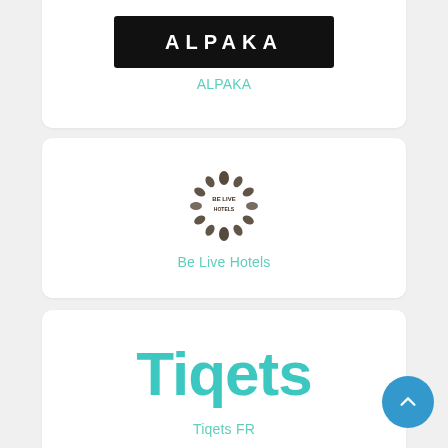[Figure (logo): ALPAKA brand logo — white text on black rectangular background]
ALPAKA
[Figure (logo): Be Live Hotels sunburst logo mark in dark tones]
Be Live Hotels
[Figure (logo): Tiqets brand wordmark in teal/cyan color]
Tiqets FR